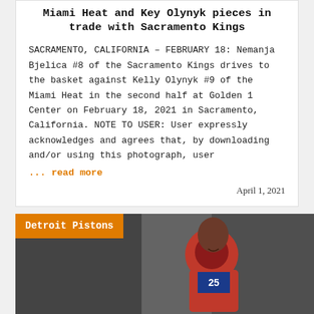Miami Heat and Key Olynyk pieces in trade with Sacramento Kings
SACRAMENTO, CALIFORNIA – FEBRUARY 18: Nemanja Bjelica #8 of the Sacramento Kings drives to the basket against Kelly Olynyk #9 of the Miami Heat in the second half at Golden 1 Center on February 18, 2021 in Sacramento, California. NOTE TO USER: User expressly acknowledges and agrees that, by downloading and/or using this photograph, user
... read more
April 1, 2021
Detroit Pistons
[Figure (photo): Basketball player in Detroit Pistons uniform, close-up photo with blurred arena background]